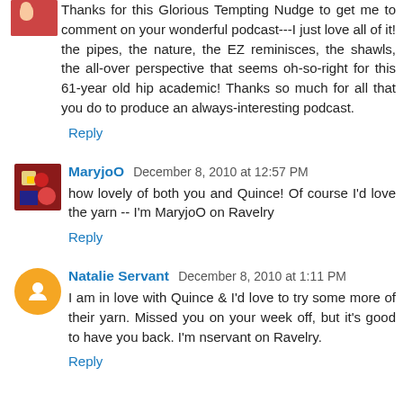Thanks for this Glorious Tempting Nudge to get me to comment on your wonderful podcast---I just love all of it! the pipes, the nature, the EZ reminisces, the shawls, the all-over perspective that seems oh-so-right for this 61-year old hip academic! Thanks so much for all that you do to produce an always-interesting podcast.
Reply
MaryjoO  December 8, 2010 at 12:57 PM
how lovely of both you and Quince! Of course I'd love the yarn -- I'm MaryjoO on Ravelry
Reply
Natalie Servant  December 8, 2010 at 1:11 PM
I am in love with Quince & I'd love to try some more of their yarn. Missed you on your week off, but it's good to have you back. I'm nservant on Ravelry.
Reply